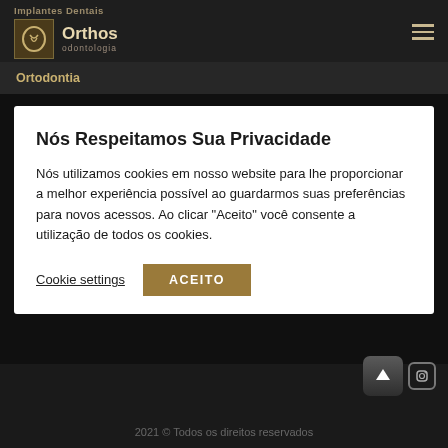Implantes Dentais — Orthos Odontologia
Ortodontia
Nós Respeitamos Sua Privacidade
Nós utilizamos cookies em nosso website para lhe proporcionar a melhor experiência possível ao guardarmos suas preferências para novos acessos. Ao clicar "Aceito" você consente a utilização de todos os cookies.
Cookie settings   ACEITO
2021 © Todos os direitos reservados